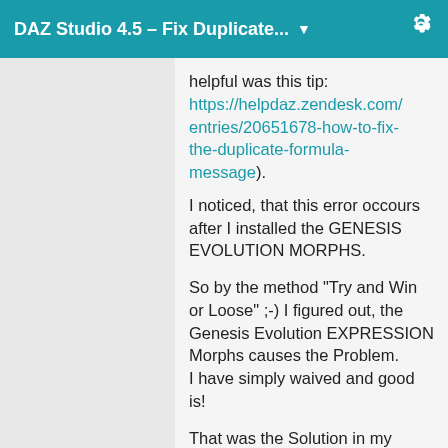DAZ Studio 4.5 – Fix Duplicate... ▼
helpful was this tip: https://helpdaz.zendesk.com/entries/20651678-how-to-fix-the-duplicate-formula-message).
I noticed, that this error occours after I installed the GENESIS EVOLUTION MORPHS.
So by the method "Try and Win or Loose" ;-) I figured out, the Genesis Evolution EXPRESSION Morphs causes the Problem.
I have simply waived and good is!
That was the Solution in my